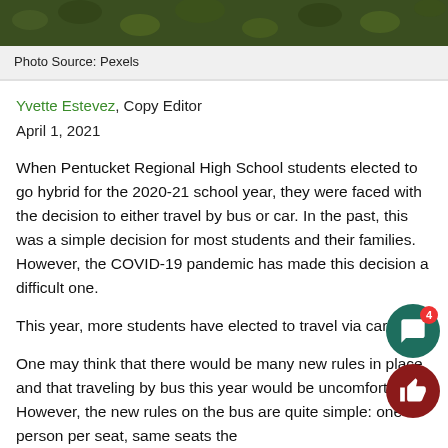[Figure (photo): Top portion of an outdoor photo showing foliage/leaves, cropped at top of page]
Photo Source: Pexels
Yvette Estevez, Copy Editor
April 1, 2021
When Pentucket Regional High School students elected to go hybrid for the 2020-21 school year, they were faced with the decision to either travel by bus or car. In the past, this was a simple decision for most students and their families. However, the COVID-19 pandemic has made this decision a difficult one.
This year, more students have elected to travel via car.
One may think that there would be many new rules in place and that traveling by bus this year would be uncomfortable. However, the new rules on the bus are quite simple: one person per seat, same seats the whole year, and masks must be worn. These rules...